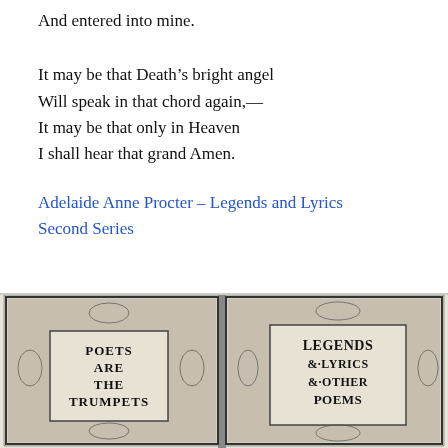And entered into mine.
It may be that Death's bright angel
Will speak in that chord again,—
It may be that only in Heaven
I shall hear that grand Amen.
Adelaide Anne Procter – Legends and Lyrics Second Series
[Figure (illustration): Black and white engraved illustration showing an ornate decorative book cover or title page with intricate floral and vine borders. On the left panel text reads 'POETS ARE THE TRUMPETS' and on the right panel 'LEGENDS & LYRICS & OTHER POEMS']